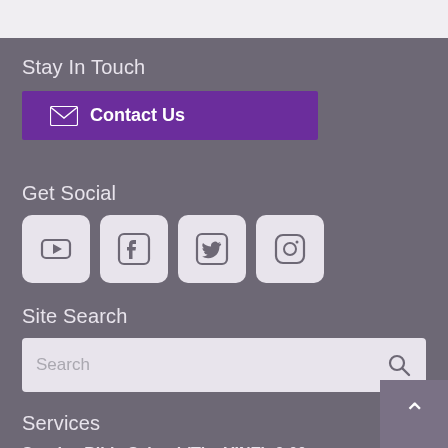Stay In Touch
Contact Us
Get Social
[Figure (other): Social media icons: YouTube, Facebook, Twitter, Instagram]
Site Search
Search
Services
Sunday Bible School (The VINE): 9:00am
Sunday Worship Service: 9:00am and 11:15am